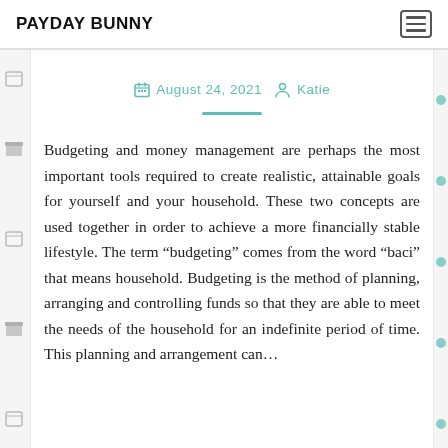PAYDAY BUNNY
August 24, 2021  Katie
Budgeting and money management are perhaps the most important tools required to create realistic, attainable goals for yourself and your household. These two concepts are used together in order to achieve a more financially stable lifestyle. The term “budgeting” comes from the word “baci” that means household. Budgeting is the method of planning, arranging and controlling funds so that they are able to meet the needs of the household for an indefinite period of time. This planning and arrangement can…